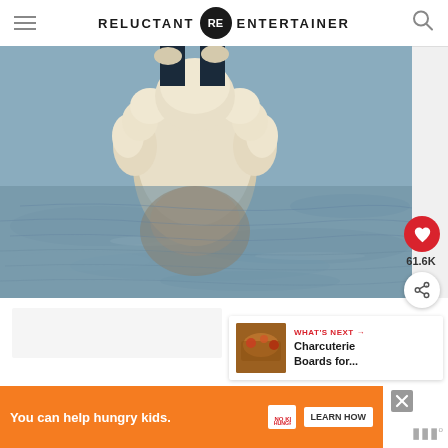RELUCTANT RE ENTERTAINER
[Figure (photo): Dog (fluffy white/beige) standing in shallow water on a beach, with its reflection visible in the wet sand/water below it.]
61.6K
WHAT'S NEXT → Charcuterie Boards for...
[Figure (photo): Small thumbnail image of a charcuterie board]
You can help hungry kids.  NO KID HUNGRY  LEARN HOW